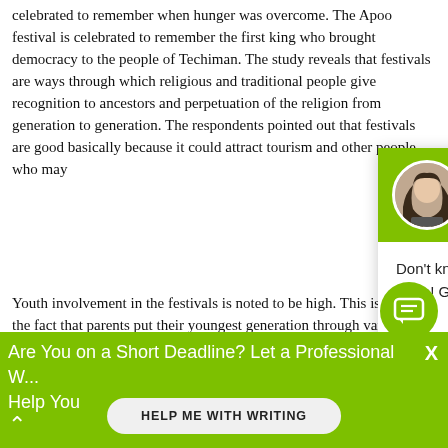celebrated to remember when hunger was overcome. The Apoo festival is celebrated to remember the first king who brought democracy to the people of Techiman. The study reveals that festivals are ways through which religious and traditional people give recognition to ancestors and perpetuation of the religion from generation to generation. The respondents pointed out that festivals are good basically because it could attract tourism and other people who may
Youth involvement in the festivals is noted to be high. This is due to the fact that parents put their youngest generation through various skills to place them on a higher pedestal in future. Also, festivals are meant to be lively and entertaining so the youth take active roles in games, sports, songs, dances and drama. The Adae festival uses the you
[Figure (screenshot): Chat popup overlay with green header showing avatar and 'Hi! I'm Mia!' greeting, body text 'Don't know how to start your paper? Worry no more! Get professional writing assistance from me.' with 'Check it out' link]
Are You on a Short Deadline? Let a Professional W... Help You
HELP ME WITH WRITING